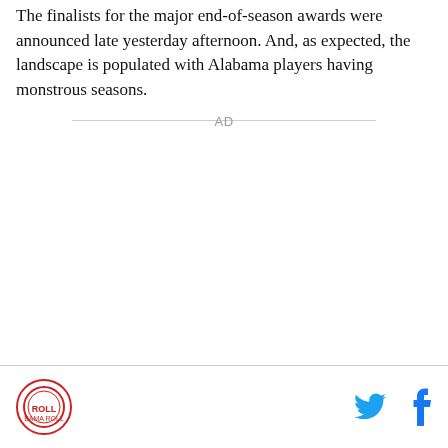The finalists for the major end-of-season awards were announced late yesterday afternoon. And, as expected, the landscape is populated with Alabama players having monstrous seasons.
[Figure (other): Advertisement placeholder labeled AD]
Logo icon and social media icons (Twitter, Facebook)